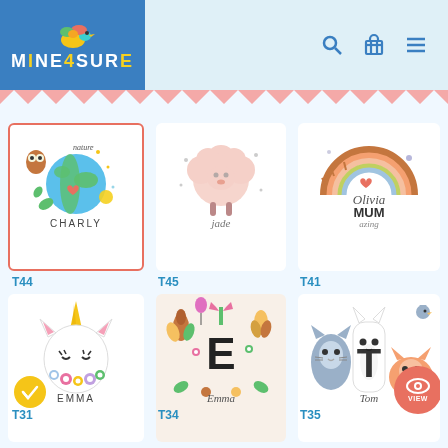Mine4Sure - product grid page
[Figure (screenshot): Mine4Sure logo with colorful bird graphic on blue background]
[Figure (illustration): Zigzag/chevron salmon pink decorative banner]
[Figure (illustration): Product card T44 - nature earth globe illustration with name CHARLY, selected with orange border]
T44
[Figure (illustration): Product card T45 - fluffy pink sheep illustration with name Jade]
T45
[Figure (illustration): Product card T41 - rainbow with text Olivia MUM azing]
T41
[Figure (illustration): Product card T31 - unicorn with flowers illustration with name EMMA, has gold checkmark badge]
T31
[Figure (illustration): Product card T34 - colorful Scandinavian pattern with letter E and name Emma]
T34
[Figure (illustration): Product card T35 - cartoon cats illustration with name Tom and red VIEW badge]
T35